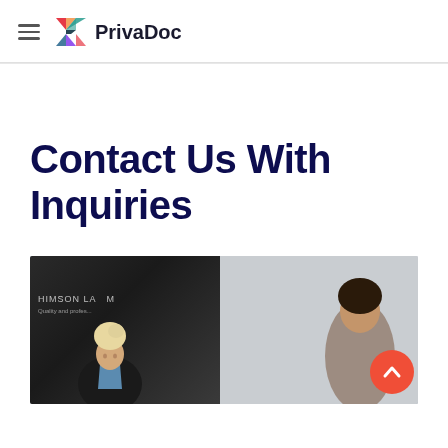PrivaDoc
Contact Us With Inquiries
[Figure (photo): A professional law office photo showing a woman with blonde hair in a bun wearing a dark jacket, seated in front of a dark wall with 'HIMSON LAW' signage, with another person partially visible on the right side against a light grey background. A red back-to-top arrow button is visible in the lower right.]